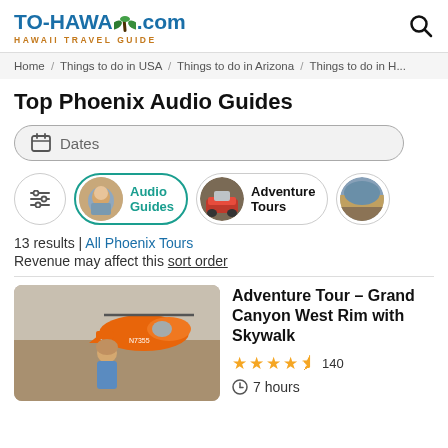TO-HAWAII.com HAWAII TRAVEL GUIDE
Home / Things to do in USA / Things to do in Arizona / Things to do in ...
Top Phoenix Audio Guides
Dates
Audio Guides
Adventure Tours
13 results | All Phoenix Tours
Revenue may affect this sort order
Adventure Tour – Grand Canyon West Rim with Skywalk
★★★★½ 140
7 hours